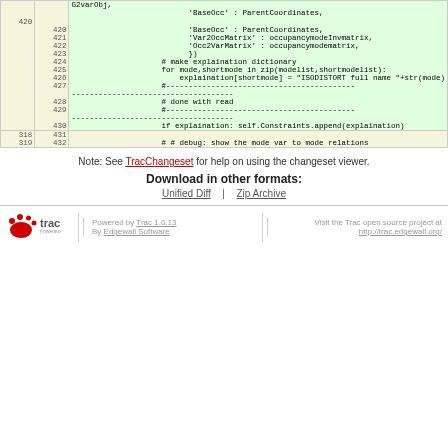| old | new | code |
| --- | --- | --- |
|  | 420 | G2varObj,
                          'BaseOcc' :
ParentCoordinates, |
|  | 421 |                           'Var2OccMatrix' :
occupancymodeInvmatrix, |
|  | 422 |                           'Occ2VarMatrix' :
occupancymodematrix, |
|  | 423 |                           }) |
|  | 424 |                     # make explaination
dictionary |
|  | 425 |                     for mode,shortmode in
zip(modelist,shortmodelist): |
|  | 426 |                         explaination[shortmode] =
"ISODISTORT full name "+str(mode) |
|  | 427 |                     #-------------------------------
------------------------------------ |
|  | 428 |                     # done with read |
|  | 429 |                     #-------------------------------
------------------------------------ |
|  | 430 |                     if explaination:
self.Constraints.append(explaination) |
| 318 | 431 |  |
| 319 | 432 |                     # # debug: show the mode var to
mode relations |
Note: See TracChangeset for help on using the changeset viewer.
Download in other formats:
Unified Diff | Zip Archive
Powered by Trac 1.0.13 By Edgewall Software.  Visit the Trac open source project at http://trac.edgewall.org/